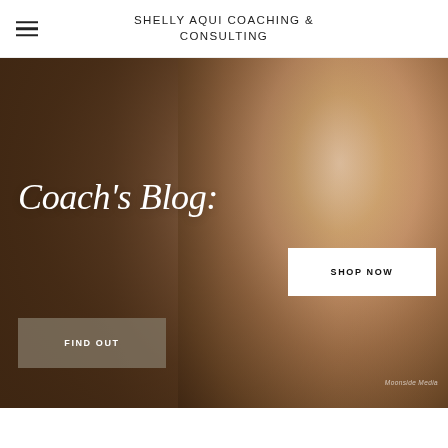SHELLY AQUI COACHING & CONSULTING
[Figure (photo): Hero banner image of a woman sitting on an ornate couch holding a book, with warm brown tones. Overlaid with blog title text and two call-to-action buttons. Text reads: Coach's Blog, SHOP NOW, FIND OUT. Watermark: Moonside Media.]